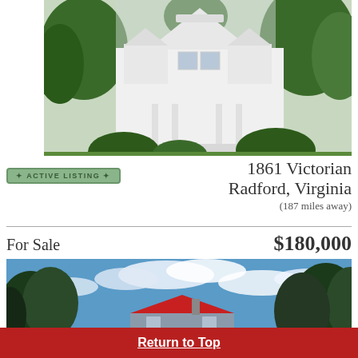[Figure (photo): Large white Victorian house from 1861, two-story with ornate gingerbread trim, columns, multiple windows, surrounded by green trees and shrubs]
ACTIVE LISTING
1861 Victorian
Radford, Virginia
(187 miles away)
For Sale   $180,000
[Figure (photo): House with red metal roof partially visible beneath tall trees with a bright blue sky and white clouds in background]
Return to Top